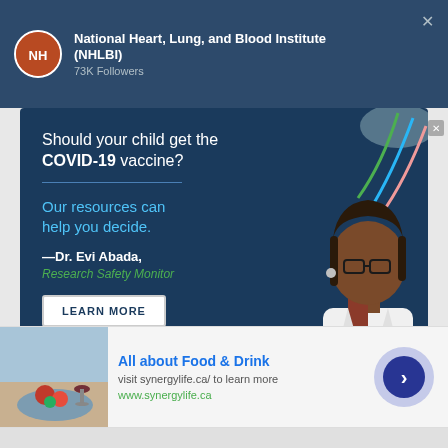National Heart, Lung, and Blood Institute (NHLBI)
73K Followers
[Figure (infographic): NHLBI COVID-19 vaccine ad card on dark blue background. Text reads: Should your child get the COVID-19 vaccine? Our resources can help you decide. —Dr. Evi Abada, Research Safety Monitor. Decorative colored lines top right, doctor photo bottom right. LEARN MORE button.]
All about Food & Drink
visit synergylife.ca/ to learn more
www.synergylife.ca